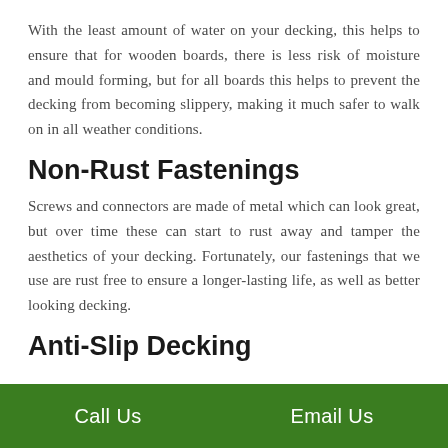With the least amount of water on your decking, this helps to ensure that for wooden boards, there is less risk of moisture and mould forming, but for all boards this helps to prevent the decking from becoming slippery, making it much safer to walk on in all weather conditions.
Non-Rust Fastenings
Screws and connectors are made of metal which can look great, but over time these can start to rust away and tamper the aesthetics of your decking. Fortunately, our fastenings that we use are rust free to ensure a longer-lasting life, as well as better looking decking.
Anti-Slip Decking
Call Us    Email Us